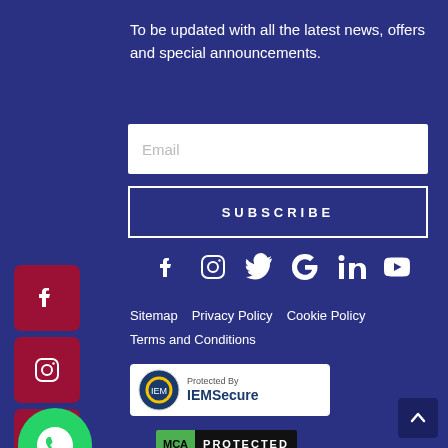To be updated with all the latest news, offers and special announcements.
[Figure (other): Email input field with placeholder text 'Email']
[Figure (other): Subscribe button with text 'SUBSCRIBE']
[Figure (other): Social media icons row: Facebook, Instagram, Twitter, Google, LinkedIn, YouTube]
[Figure (other): Left sidebar with red square icons for Facebook, Instagram, Twitter, Google, YouTube]
Sitemap    Privacy Policy    Cookie Policy
Terms and Conditions
[Figure (logo): IEMSecure badge: 'Protected By IEMSecure']
[Figure (logo): DMCA Protected badge]
[Figure (other): WhatsApp floating button (green circle)]
[Figure (other): Scroll to top button (dark square with up arrow)]